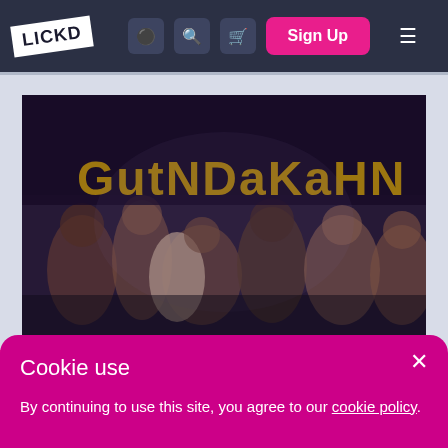[Figure (screenshot): Lickd website navigation bar with logo, headphone icon, search icon, basket icon, pink Sign Up button, and hamburger menu on dark navy background]
[Figure (photo): Blurred music/album artwork showing stylized yellow graffiti text 'GutNdaKahm' or similar over group of people, dark background]
Cookie use
By continuing to use this site, you agree to our cookie policy.